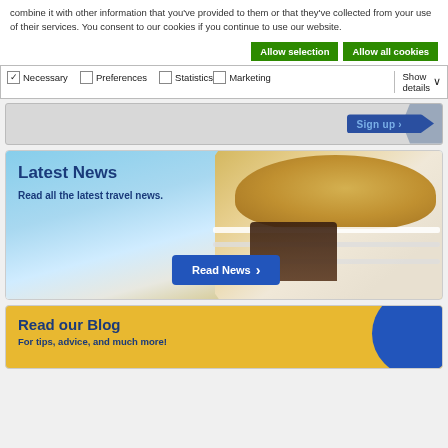combine it with other information that you've provided to them or that they've collected from your use of their services. You consent to our cookies if you continue to use our website.
Allow selection | Allow all cookies
Necessary | Preferences | Statistics | Marketing | Show details
[Figure (screenshot): Sign up banner with blue button and arrow tag graphic]
[Figure (screenshot): Latest News banner with beach background, straw hat and lounge chair, Read News button]
Latest News
Read all the latest travel news.
Read News ›
[Figure (screenshot): Read our Blog card with yellow background and blue circle]
Read our Blog
For tips, advice, and much more!